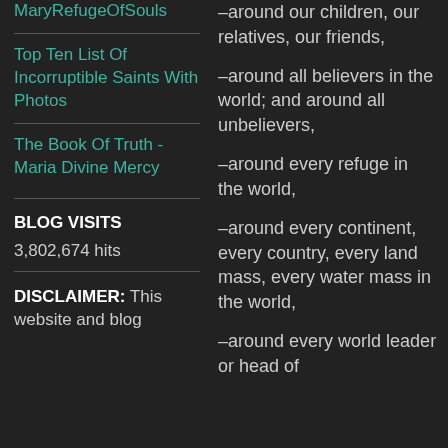MaryRefugeOfSouls
Top Ten List Of Incorruptible Saints With Photos
The Book Of Truth - Maria Divine Mercy
BLOG VISITS
3,802,674 hits
DISCLAIMER: This website and blog
-around our children, our relatives, our friends,
-around all believers in the world; and around all unbelievers,
-around every refuge in the world,
-around every continent, every country, every land mass, every water mass in the world,
-around every world leader or head of